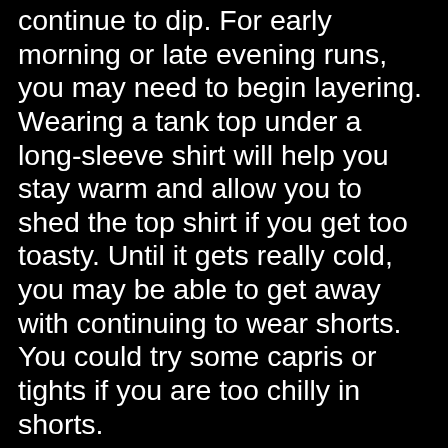continue to dip. For early morning or late evening runs, you may need to begin layering. Wearing a tank top under a long-sleeve shirt will help you stay warm and allow you to shed the top shirt if you get too toasty. Until it gets really cold, you may be able to get away with continuing to wear shorts. You could try some capris or tights if you are too chilly in shorts.
Since we are located in the northern part of the state, we might, fingers crossed, have some days where the temperature plunges, and it actually feels like winter. Will it get cold enough to kill the mutant mosquitos we are plagued with? We can only hope.